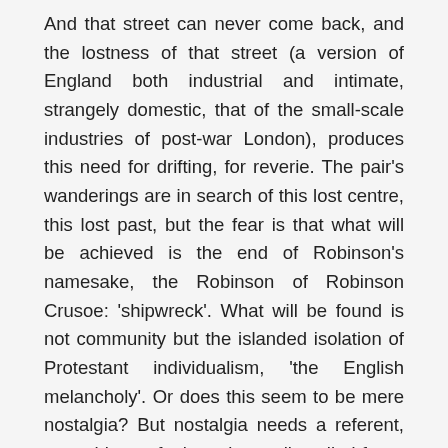And that street can never come back, and the lostness of that street (a version of England both industrial and intimate, strangely domestic, that of the small-scale industries of post-war London), produces this need for drifting, for reverie. The pair's wanderings are in search of this lost centre, this lost past, but the fear is that what will be achieved is the end of Robinson's namesake, the Robinson of Robinson Crusoe: 'shipwreck'. What will be found is not community but the islanded isolation of Protestant individualism, 'the English melancholy'. Or does this seem to be mere nostalgia? But nostalgia needs a referent, something to feel sentimentally exiled from. The problem here is that the failed search for the location of memory has produced a kind of instability, a need for drifting, and with that the solidity of sentiment has also been lost. Robinson is exiled from his feelings, and the landscape